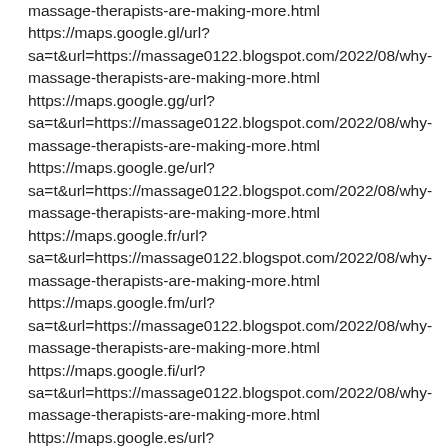massage-therapists-are-making-more.html
https://maps.google.gl/url?sa=t&url=https://massage0122.blogspot.com/2022/08/why-massage-therapists-are-making-more.html
https://maps.google.gg/url?sa=t&url=https://massage0122.blogspot.com/2022/08/why-massage-therapists-are-making-more.html
https://maps.google.ge/url?sa=t&url=https://massage0122.blogspot.com/2022/08/why-massage-therapists-are-making-more.html
https://maps.google.fr/url?sa=t&url=https://massage0122.blogspot.com/2022/08/why-massage-therapists-are-making-more.html
https://maps.google.fm/url?sa=t&url=https://massage0122.blogspot.com/2022/08/why-massage-therapists-are-making-more.html
https://maps.google.fi/url?sa=t&url=https://massage0122.blogspot.com/2022/08/why-massage-therapists-are-making-more.html
https://maps.google.es/url?